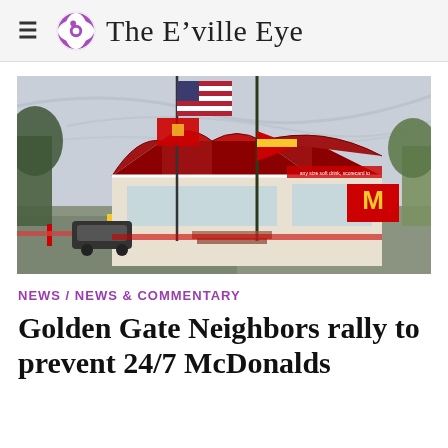The E'ville Eye
[Figure (photo): Exterior photograph of a McDonald's restaurant with American flag and red flags on flagpoles in the foreground, parking lot visible to the left, trees on both sides, cloudy sky above.]
NEWS / NEWS & COMMENTARY
Golden Gate Neighbors rally to prevent 24/7 McDonalds